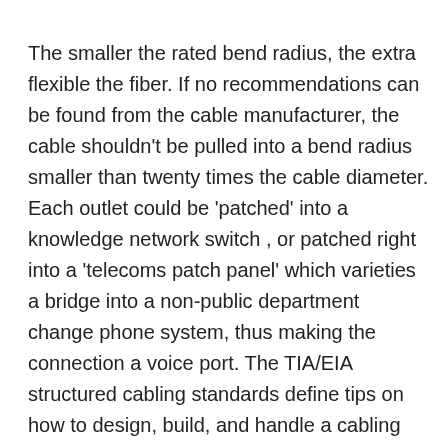The smaller the rated bend radius, the extra flexible the fiber. If no recommendations can be found from the cable manufacturer, the cable shouldn't be pulled into a bend radius smaller than twenty times the cable diameter. Each outlet could be 'patched' into a knowledge network switch , or patched right into a 'telecoms patch panel' which varieties a bridge into a non-public department change phone system, thus making the connection a voice port. The TIA/EIA structured cabling standards define tips on how to design, build, and handle a cabling system that's structured, which means that the system is designed in blocks which have very specific efficiency characteristics